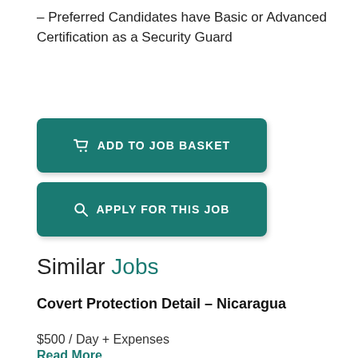– Preferred Candidates have Basic or Advanced Certification as a Security Guard
ADD TO JOB BASKET
APPLY FOR THIS JOB
Similar Jobs
Covert Protection Detail – Nicaragua
$500 / Day + Expenses
Read More